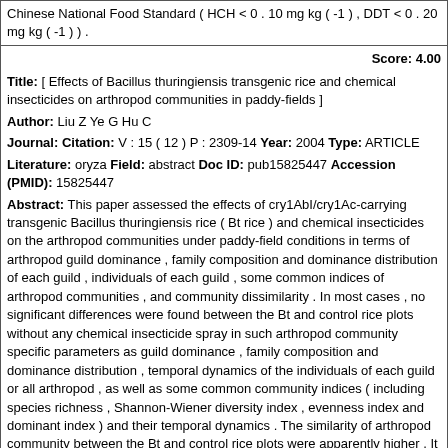Chinese National Food Standard ( HCH < 0 . 10 mg kg ( -1 ) , DDT < 0 . 20 mg kg ( -1 ) ) .
Score: 4.00
Title: [ Effects of Bacillus thuringiensis transgenic rice and chemical insecticides on arthropod communities in paddy-fields ]
Author: Liu Z Ye G Hu C
Journal: Citation: V : 15 ( 12 ) P : 2309-14 Year: 2004 Type: ARTICLE
Literature: oryza Field: abstract Doc ID: pub15825447 Accession (PMID): 15825447
Abstract: This paper assessed the effects of cry1AbI/cry1Ac-carrying transgenic Bacillus thuringiensis rice ( Bt rice ) and chemical insecticides on the arthropod communities under paddy-field conditions in terms of arthropod guild dominance , family composition and dominance distribution of each guild , individuals of each guild , some common indices of arthropod communities , and community dissimilarity . In most cases , no significant differences were found between the Bt and control rice plots without any chemical insecticide spray in such arthropod community specific parameters as guild dominance , family composition and dominance distribution , temporal dynamics of the individuals of each guild or all arthropod , as well as some common community indices ( including species richness , Shannon-Wiener diversity index , evenness index and dominant index ) and their temporal dynamics . The similarity of arthropod community between the Bt and control rice plots were apparently higher . It was clear that Bt rice generally showed no marked negative effect on the arthropod community in paddy field . In contrast , some arthropod community specific parameters such as guild dominances in the control plot with chemical insecticide spray were in some cases markedly and even significantly different from those in the